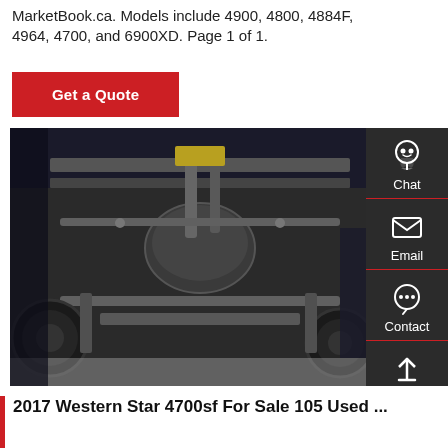MarketBook.ca. Models include 4900, 4800, 4884F, 4964, 4700, and 6900XD. Page 1 of 1.
Get a Quote
[Figure (photo): Undercarriage view of a heavy truck showing exhaust components, frame rails, axles, and suspension parts. A sidebar on the right shows Chat, Email, Contact, and Top navigation icons on a dark background.]
Chat
Email
Contact
Top
2017 Western Star 4700sf For Sale 105 Used ...